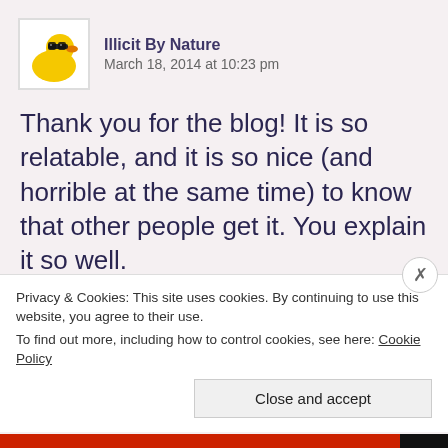[Figure (illustration): Avatar image of a yellow rubber duck wearing sunglasses, shown in a white square border]
Illicit By Nature
March 18, 2014 at 10:23 pm
Thank you for the blog! It is so relatable, and it is so nice (and horrible at the same time) to know that other people get it. You explain it so well.
I just posted another blog about something that we previously touched on in our comments and couldn't help but do a shout out to you! Just thought I should let you know, if you would rather I took it down then
Privacy & Cookies: This site uses cookies. By continuing to use this website, you agree to their use.
To find out more, including how to control cookies, see here: Cookie Policy
Close and accept